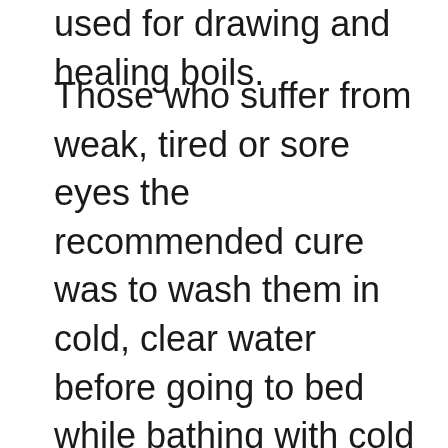used for drawing and healing boils.
Those who suffer from weak, tired or sore eyes the recommended cure was to wash them in cold, clear water before going to bed while bathing with cold tea was said to be particularly good for relieving weak eyes, and honey was a popular remedy for sore eyes. On occasion, however, our eyes become scratchy or gravelly and the old cure for this condition was said to be the juice, or sap, from the